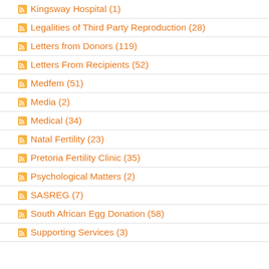Kingsway Hospital (1)
Legalities of Third Party Reproduction (28)
Letters from Donors (119)
Letters From Recipients (52)
Medfem (51)
Media (2)
Medical (34)
Natal Fertility (23)
Pretoria Fertility Clinic (35)
Psychological Matters (2)
SASREG (7)
South African Egg Donation (58)
Supporting Services (3)